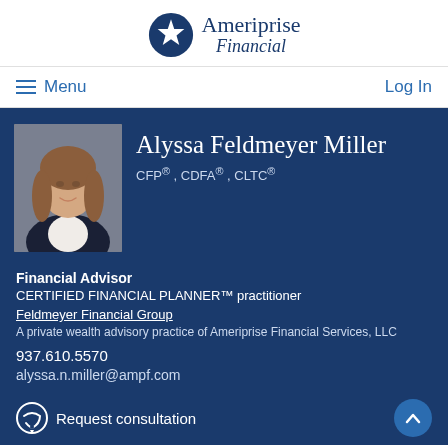[Figure (logo): Ameriprise Financial logo with star icon]
Menu  Log In
[Figure (photo): Professional headshot of Alyssa Feldmeyer Miller, a woman with long brown hair wearing a dark blazer]
Alyssa Feldmeyer Miller
CFP®, CDFA®, CLTC®
Financial Advisor
CERTIFIED FINANCIAL PLANNER™ practitioner
Feldmeyer Financial Group
A private wealth advisory practice of Ameriprise Financial Services, LLC
937.610.5570
alyssa.n.miller@ampf.com
Request consultation